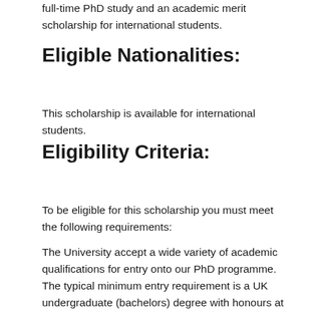full-time PhD study and an academic merit scholarship for international students.
Eligible Nationalities:
This scholarship is available for international students.
Eligibility Criteria:
To be eligible for this scholarship you must meet the following requirements:
The University accept a wide variety of academic qualifications for entry onto our PhD programme. The typical minimum entry requirement is a UK undergraduate (bachelors) degree with honours at a first or upper second class level in an appropriate field of study.